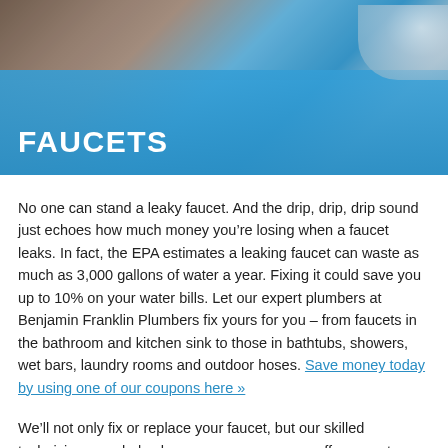[Figure (photo): Hero banner image showing a plumber's hands working on a faucet with a blue overlay, with the word FAUCETS in white bold text at the bottom left.]
FAUCETS
No one can stand a leaky faucet. And the drip, drip, drip sound just echoes how much money you’re losing when a faucet leaks. In fact, the EPA estimates a leaking faucet can waste as much as 3,000 gallons of water a year. Fixing it could save you up to 10% on your water bills. Let our expert plumbers at Benjamin Franklin Plumbers fix yours for you – from faucets in the bathroom and kitchen sink to those in bathtubs, showers, wet bars, laundry rooms and outdoor hoses. Save money today by using one of our coupons here »
We’ll not only fix or replace your faucet, but our skilled technicians can help shave even more money off your water bills with the installation of a low-flow faucet.